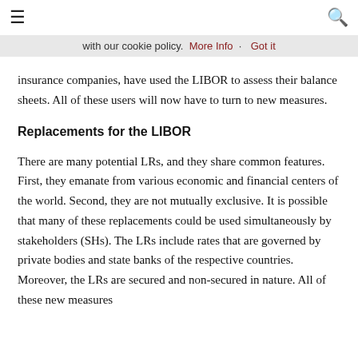≡   🔍
with our cookie policy. More Info · Got it
insurance companies, have used the LIBOR to assess their balance sheets. All of these users will now have to turn to new measures.
Replacements for the LIBOR
There are many potential LRs, and they share common features. First, they emanate from various economic and financial centers of the world. Second, they are not mutually exclusive. It is possible that many of these replacements could be used simultaneously by stakeholders (SHs). The LRs include rates that are governed by private bodies and state banks of the respective countries. Moreover, the LRs are secured and non-secured in nature. All of these new measures